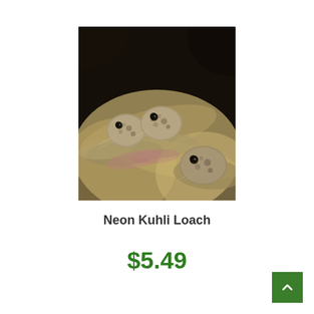[Figure (photo): Close-up photo of Neon Kuhli Loach fish, showing three fish faces with mottled brown/olive coloring against a sandy/blurred background]
Neon Kuhli Loach
$5.49